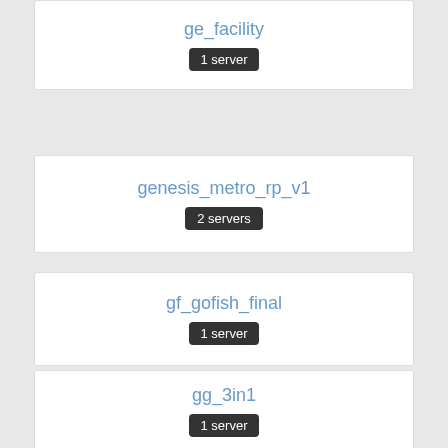ge_facility
1 server
genesis_metro_rp_v1
2 servers
gf_gofish_final
1 server
gg_3in1
1 server
gg_nuketown